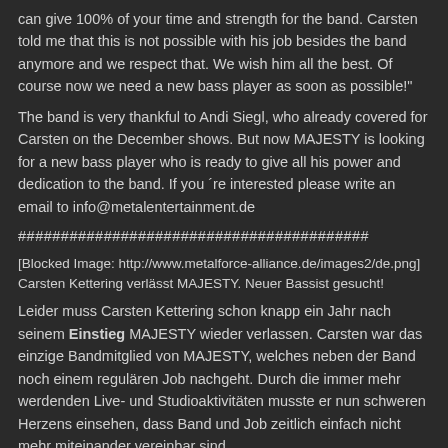can give 100% of your time and strength for the band. Carsten told me that this is not possible with his job besides the band anymore and we respect that. We wish him all the best. Of course now we need a new bass player as soon as possible!"
The band is very thankful to Andi Siegl, who already covered for Carsten on the December shows. But now MAJESTY is looking for a new bass player who is ready to give all his power and dedication to the band. If you ´re interested please write an email to info@metalentertainment.de
#########################################
[Blocked Image: http://www.metalforce-alliance.de/images2/de.png]
Carsten Kettering verlässt MAJESTY. Neuer Bassist gesucht!
Leider muss Carsten Kettering schon knapp ein Jahr nach seinem Einstieg MAJESTY wieder verlassen. Carsten war das einzige Bandmitglied von MAJESTY, welches neben der Band noch einem regulären Job nachgeht. Durch die immer mehr werdenden Live- und Studioaktivitäten musste er nun schweren Herzens einsehen, dass Band und Job zeitlich einfach nicht mehr miteinander vereinbar sind.
MAJESTY Sänger Tarek dazu: „ Wir sind natürlich als Band sehr traurig über Carstens Ausstieg. Vor allem, da er nicht nur ein toller Basser